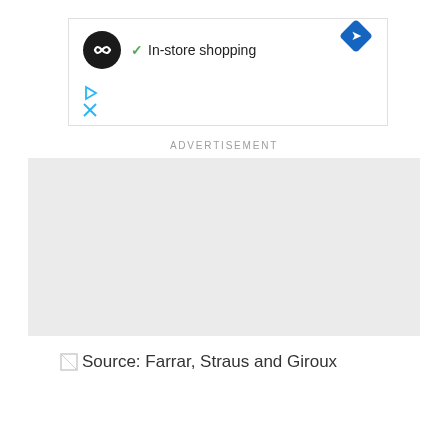[Figure (screenshot): Ad card with circular logo (dark background with infinity-like symbol), green checkmark, text 'In-store shopping', blue diamond direction icon, blue play triangle icon, and blue X close icon]
ADVERTISEMENT
[Figure (other): Gray rectangle placeholder for advertisement]
Source: Farrar, Straus and Giroux